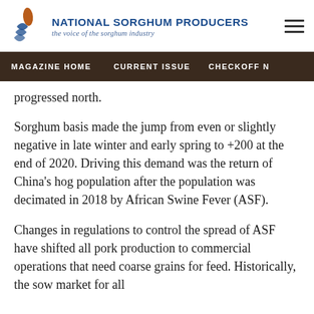National Sorghum Producers — the voice of the sorghum industry
MAGAZINE HOME   CURRENT ISSUE   CHECKOFF N
progressed north. Sorghum basis made the jump from even or slightly negative in late winter and early spring to +200 at the end of 2020. Driving this demand was the return of China's hog population after the population was decimated in 2018 by African Swine Fever (ASF).
Changes in regulations to control the spread of ASF have shifted all pork production to commercial operations that need coarse grains for feed. Historically, the sow market for small...